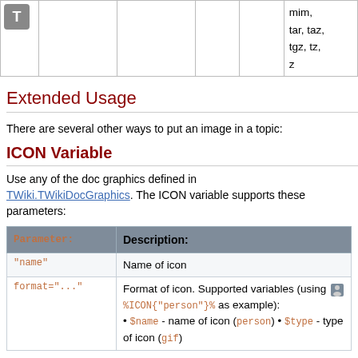|  |  |  |  |  |  |
| --- | --- | --- | --- | --- | --- |
| [T icon] |  |  |  |  | mim, tar, taz, tgz, tz, z |
Extended Usage
There are several other ways to put an image in a topic:
ICON Variable
Use any of the doc graphics defined in TWiki.TWikiDocGraphics. The ICON variable supports these parameters:
| Parameter: | Description: |
| --- | --- |
| "name" | Name of icon |
| format="..." | Format of icon. Supported variables (using [person icon] %ICON{"person"}% as example):
• $name - name of icon (person)
• $type - type of icon (gif) |